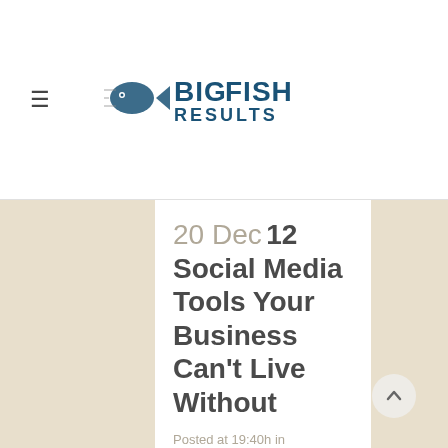[Figure (logo): Big Fish Results logo with fish icon and bold text]
20 Dec 12 Social Media Tools Your Business Can't Live Without
Posted at 19:40h in Marketing, Social Media
Running social media marketing becomes infinitely easier when you find the right tech tools to do most of the